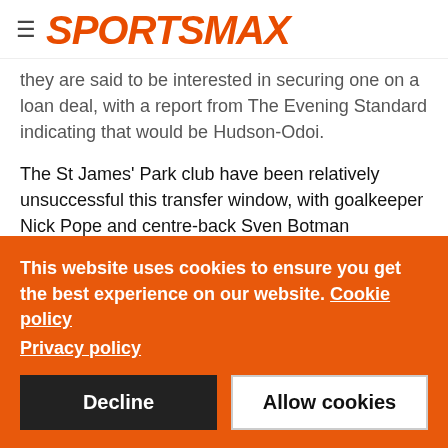SPORTSMAX
they are said to be interested in securing one on a loan deal, with a report from The Evening Standard indicating that would be Hudson-Odoi.
The St James' Park club have been relatively unsuccessful this transfer window, with goalkeeper Nick Pope and centre-back Sven Botman highlighting their business thus far, but they could change that quickly if Chelsea are willing to play ball.
This website uses cookies to ensure you get the best experience on our website. Cookie policy Privacy policy
Decline
Allow cookies